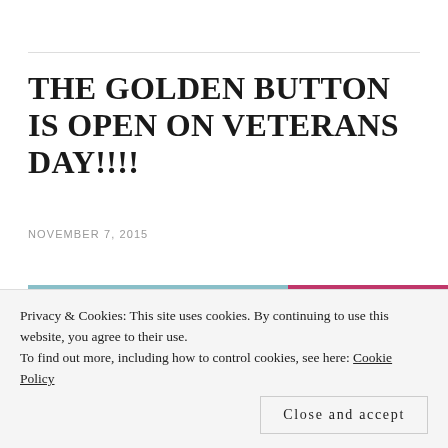THE GOLDEN BUTTON IS OPEN ON VETERANS DAY!!!!
NOVEMBER 7, 2015
[Figure (photo): Photo of a store interior with light blue background on the left and a pink/magenta display case on the right, with dark merchandise visible at the bottom.]
Privacy & Cookies: This site uses cookies. By continuing to use this website, you agree to their use.
To find out more, including how to control cookies, see here: Cookie Policy
Close and accept